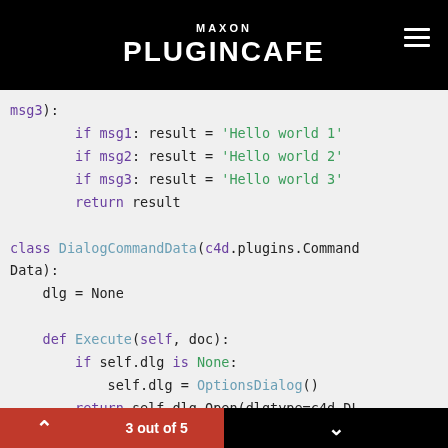MAXON PLUGINCAFE
msg3):
        if msg1: result = 'Hello world 1'
        if msg2: result = 'Hello world 2'
        if msg3: result = 'Hello world 3'
        return result

class DialogCommandData(c4d.plugins.CommandData):
    dlg = None

    def Execute(self, doc):
        if self.dlg is None:
            self.dlg = OptionsDialog()
        return self.dlg.Open(dlgtype=c4d.DLG_TYPE_ASYNC,
                                        pluginid=PLUGIN_ID,
3 out of 5